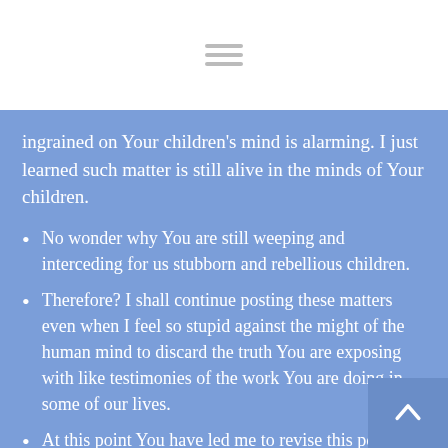ingrained on Your children’s mind is alarming. I just learned such matter is still alive in the minds of Your children.
No wonder why You are still weeping and interceding for us stubborn and rebellious children.
Therefore? I shall continue posting these matters even when I feel so stupid against the might of the human mind to discard the truth You are exposing with like testimonies of the work You are doing in some of our lives.
At this point You have led me to revise this post many times, so?
There are repeats that I can’t remove